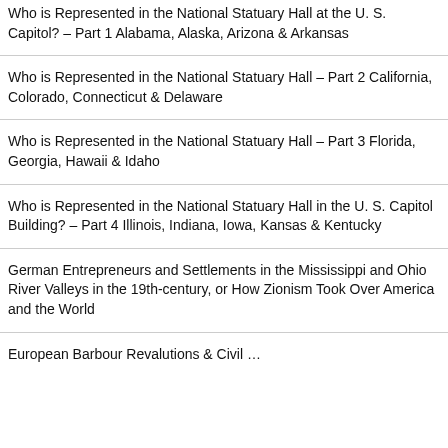Who is Represented in the National Statuary Hall at the U. S. Capitol? – Part 1 Alabama, Alaska, Arizona & Arkansas
Who is Represented in the National Statuary Hall – Part 2 California, Colorado, Connecticut & Delaware
Who is Represented in the National Statuary Hall – Part 3 Florida, Georgia, Hawaii & Idaho
Who is Represented in the National Statuary Hall in the U. S. Capitol Building? – Part 4 Illinois, Indiana, Iowa, Kansas & Kentucky
German Entrepreneurs and Settlements in the Mississippi and Ohio River Valleys in the 19th-century, or How Zionism Took Over America and the World
European Barbour Revalutions & Civil …